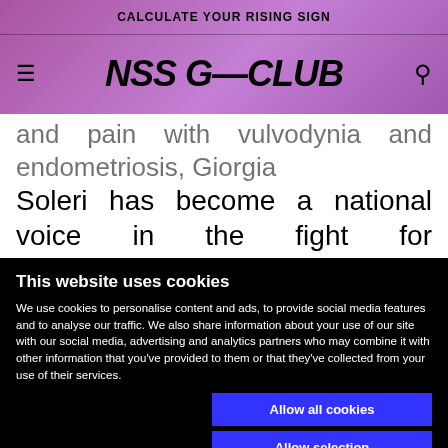CALCULATE YOUR RISING SIGN
NSS G—CLUB
and pain with vulvodynia and endometriosis, Giorgia Soleri has become a national voice in the fight for endometriosis, and has collaborated with the Vulvodynia and Pudendal Neuropathy Committee to
This website uses cookies
We use cookies to personalise content and ads, to provide social media features and to analyse our traffic. We also share information about your use of our site with our social media, advertising and analytics partners who may combine it with other information that you've provided to them or that they've collected from your use of their services.
Allow all cookies
Allow selection
Use necessary cookies only
Necessary  Preferences  Statistics  Marketing  Show details